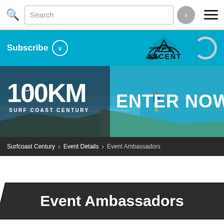Search [search bar] [hamburger menu]
Subscribe
[Figure (screenshot): Hero banner for 100KM Surf Coast Century event with coastal background image, runner visible on right side]
ENTER NOW
Surfcoast Century > Event Details > Event Ambassadors
Event Ambassadors
Each year we appoint several different event